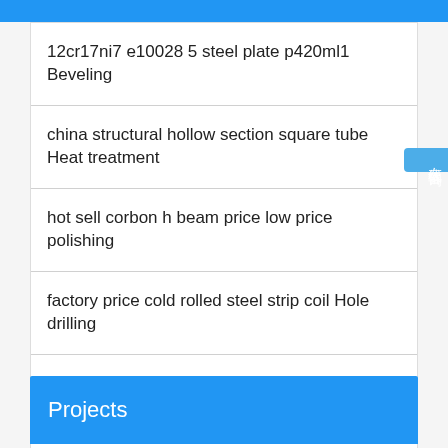12cr17ni7 e10028 5 steel plate p420ml1 Beveling
china structural hollow section square tube Heat treatment
hot sell corbon h beam price low price polishing
factory price cold rolled steel strip coil Hole drilling
metal steel sheet supplier Decoiling
factory price corrosion resistant steel erw welded pipe Welding
Projects
514...